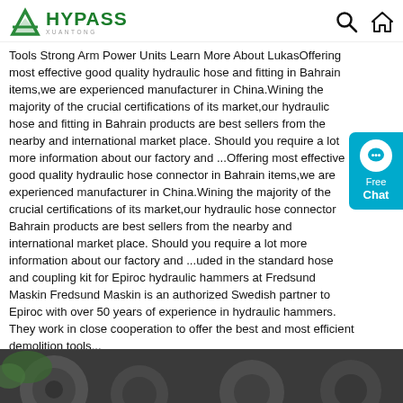HYPASS XUANTONG — navigation header with search and home icons
Tools Strong Arm Power Units Learn More About LukasOffering most effective good quality hydraulic hose and fitting in Bahrain items,we are experienced manufacturer in China.Wining the majority of the crucial certifications of its market,our hydraulic hose and fitting in Bahrain products are best sellers from the nearby and international market place. Should you require a lot more information about our factory and ...Offering most effective good quality hydraulic hose connector in Bahrain items,we are experienced manufacturer in China.Wining the majority of the crucial certifications of its market,our hydraulic hose connector Bahrain products are best sellers from the nearby and international market place. Should you require a lot more information about our factory and ...uded in the standard hose and coupling kit for Epiroc hydraulic hammers at Fredsund Maskin Fredsund Maskin is an authorized Swedish partner to Epiroc with over 50 years of experience in hydraulic hammers. They work in close cooperation to offer the best and most efficient demolition tools...
[Figure (other): Free Chat widget button in cyan/teal color with speech bubble icon]
[Figure (other): Orange 'Get Price' button]
[Figure (photo): Bottom image strip showing hydraulic hose fittings/couplings on dark background]